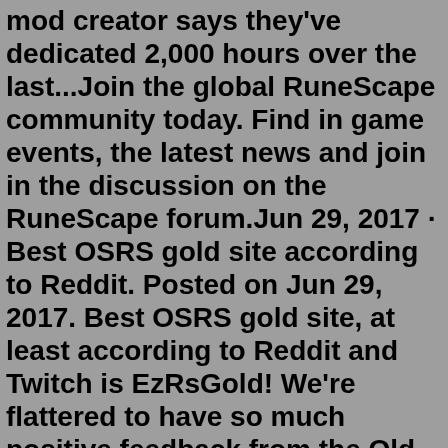Joseph Knoop published September 07, 2021 The mod creator says they've dedicated 2,000 hours over the last...Join the global RuneScape community today. Find in game events, the latest news and join in the discussion on the RuneScape forum.Jun 29, 2017 · Best OSRS gold site according to Reddit. Posted on Jun 29, 2017. Best OSRS gold site, at least according to Reddit and Twitch is EzRsGold! We're flattered to have so much positive feedback from the Old School RuneScape community! For this reason you can usually see us giving back to the community, or at least to the influencers of this ... Most new content in the game is decided by Jagex-run polls based on player feedback obtained from social media such as the RuneScape Forums, Twitter, and Reddit. Players must have at a total level of at least 280 in Old School RuneScape to be eligible to vote in these polls. In order for a poll to be successful, it must be supported by 75% of ... RuneScape. 1,038,956 likes · 1,243 talking about this. The most popular free MMORPG in the world. Play it now at